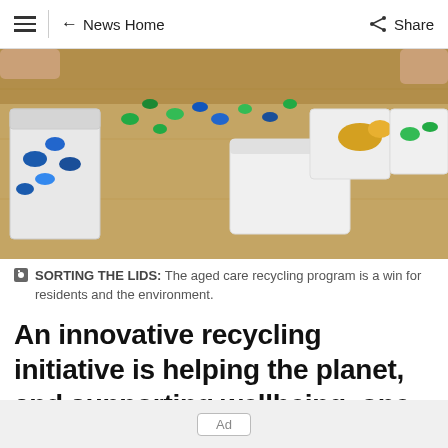≡  ← News Home    Share
[Figure (photo): Children or people sorting colorful plastic bottle caps and lids into white containers on a wooden table.]
SORTING THE LIDS: The aged care recycling program is a win for residents and the environment.
An innovative recycling initiative is helping the planet, and supporting wellbeing, one bread tag and plastic lid at a time.
Corpus Christi Aged Care Residence in Clayton
Ad